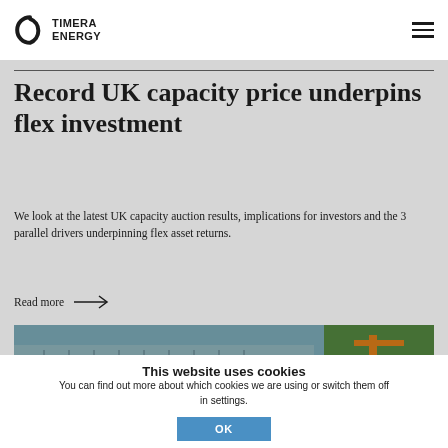Timera Energy
Record UK capacity price underpins flex investment
We look at the latest UK capacity auction results, implications for investors and the 3 parallel drivers underpinning flex asset returns.
Read more →
[Figure (photo): Industrial energy infrastructure, likely showing electrical grid or flex energy asset components with orange crane visible at right]
This website uses cookies
You can find out more about which cookies we are using or switch them off in settings.
OK